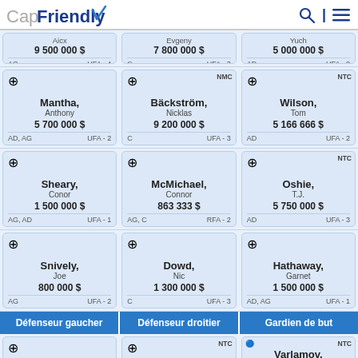CapFriendly
| Ailier gauche | Centre | Ailier droite |
| --- | --- | --- |
| Alex
9 500 000 $
AG / UFA-4 | Evgeny
7 800 000 $
C / UFA-3 | Yuch
5 000 000 $
AD / UFA-8 |
| Mantha, Anthony
5 700 000 $
AD, AG / UFA-2 [NMC] | Bäckström, Nicklas
9 200 000 $
C / UFA-3 [NMC] | Wilson, Tom
5 166 666 $
AD / UFA-2 [NTC] |
| Sheary, Conor
1 500 000 $
AG, AD / UFA-1 | McMichael, Connor
863 333 $
AG, C / RFA-2 | Oshie, T.J.
5 750 000 $
AD / UFA-3 [NTC] |
| Snively, Joe
800 000 $
AG / UFA-2 | Dowd, Nic
1 300 000 $
C / UFA-3 | Hathaway, Garnet
1 500 000 $
AD, AG / UFA-1 |
Défenseur gaucher | Défenseur droitier | Gardien de but
| Défenseur gaucher | Défenseur droitier | Gardien de but |
| --- | --- | --- |
| Fehérváry, Martin | Carlson, John [NTC] | Varlamov, Semyon [NTC] |